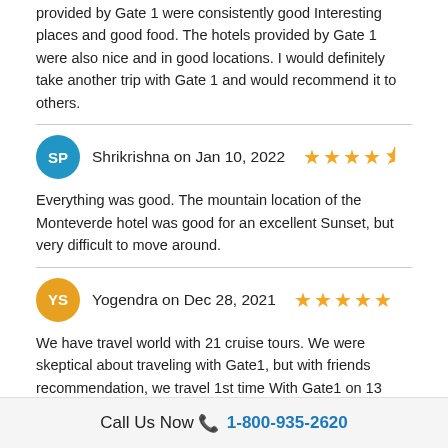provided by Gate 1 were consistently good Interesting places and good food. The hotels provided by Gate 1 were also nice and in good locations. I would definitely take another trip with Gate 1 and would recommend it to others.
Shrikrishna on Jan 10, 2022 — 4.5 stars
Everything was good. The mountain location of the Monteverde hotel was good for an excellent Sunset, but very difficult to move around.
Yogendra on Dec 28, 2021 — 5 stars
We have travel world with 21 cruise tours. We were skeptical about traveling with Gate1, but with friends recommendation, we travel 1st time With Gate1 on 13 Egypt with 7 day Nile cruise Dec28-Jan9 2022. We were in total surprise. The Hotels, Itinerary, safety concerns were fabulous. Our tour manager was God sent and was always concerned for safety,
Call Us Now 📞 1-800-935-2620